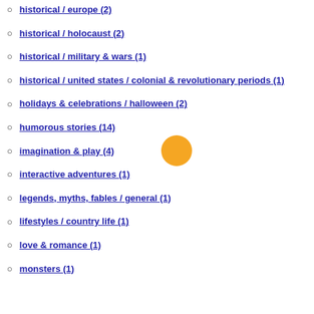historical / europe (2)
historical / holocaust (2)
historical / military & wars (1)
historical / united states / colonial & revolutionary periods (1)
holidays & celebrations / halloween (2)
humorous stories (14)
imagination & play (4)
interactive adventures (1)
legends, myths, fables / general (1)
lifestyles / country life (1)
love & romance (1)
monsters (1)